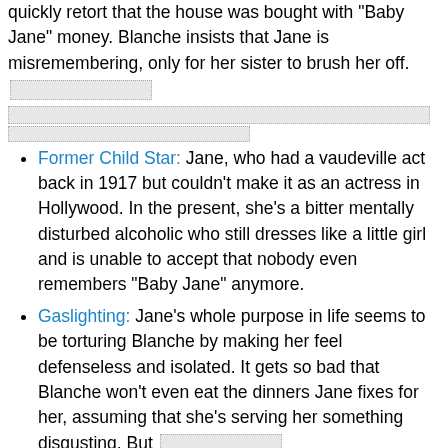quickly retort that the house was bought with 'Baby Jane' money. Blanche insists that Jane is misremembering, only for her sister to brush her off. [redacted]
Former Child Star: Jane, who had a vaudeville act back in 1917 but couldn't make it as an actress in Hollywood. In the present, she's a bitter mentally disturbed alcoholic who still dresses like a little girl and is unable to accept that nobody even remembers "Baby Jane" anymore.
Gaslighting: Jane's whole purpose in life seems to be torturing Blanche by making her feel defenseless and isolated. It gets so bad that Blanche won't even eat the dinners Jane fixes for her, assuming that she's serving her something disgusting. But [redacted]
Giftedly Bad: Jane. She is a terrible actress, can't sing and could only dance as a child. Jane herself thinks her